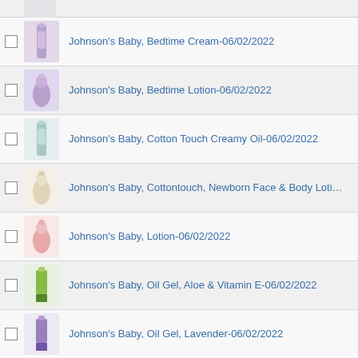Johnson's Baby, Bedtime Cream-06/02/2022
Johnson's Baby, Bedtime Lotion-06/02/2022
Johnson's Baby, Cotton Touch Creamy Oil-06/02/2022
Johnson's Baby, Cottontouch, Newborn Face & Body Loti...
Johnson's Baby, Lotion-06/02/2022
Johnson's Baby, Oil Gel, Aloe & Vitamin E-06/02/2022
Johnson's Baby, Oil Gel, Lavender-06/02/2022
Johnson's Baby, Oil Gel, Shea & Cocoa Butter-06/02/20...